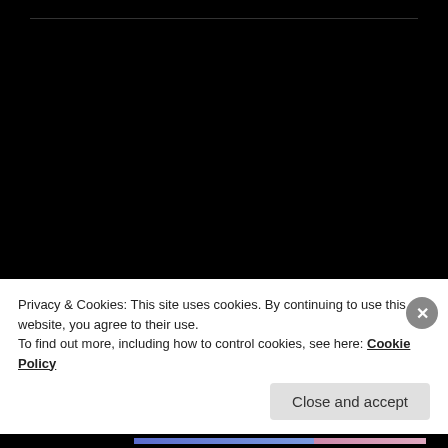[Figure (photo): Circular avatar photo of a person's profile silhouette against a dark background]
ALEX INIGO
February 20, 2013 at 4:43 PM
Watch Dogs?!
★ Like
Privacy & Cookies: This site uses cookies. By continuing to use this website, you agree to their use.
To find out more, including how to control cookies, see here: Cookie Policy
Close and accept